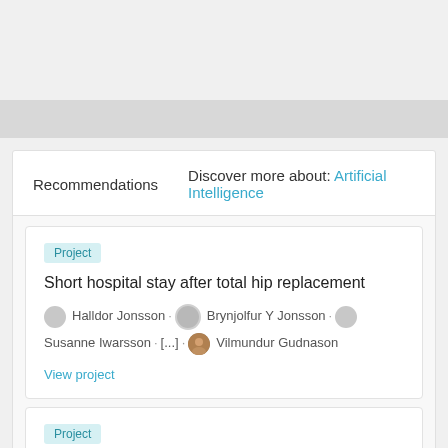Recommendations  Discover more about: Artificial Intelligence
Project
Short hospital stay after total hip replacement
Halldor Jonsson · Brynjolfur Y Jonsson · Susanne Iwarsson · [...] · Vilmundur Gudnason
View project
Project
Exploiting Defect Prediction for Automatic Software Repair